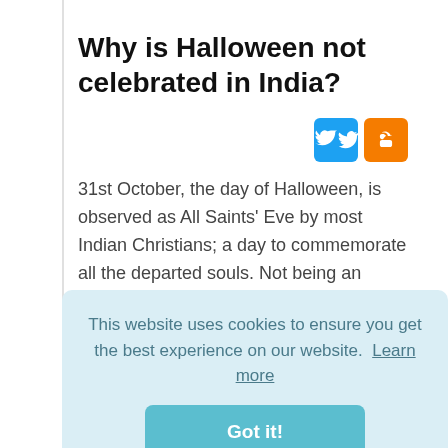Why is Halloween not celebrated in India?
[Figure (other): Twitter and Blogger social share icons]
31st October, the day of Halloween, is observed as All Saints' Eve by most Indian Christians; a day to commemorate all the departed souls. Not being an occasion to celebrate, All Saints' Day is not nearly as cool as Halloween. This is a Christian ritual and is
This website uses cookies to ensure you get the best experience on our website. Learn more
Got it!
When did Halloween start in